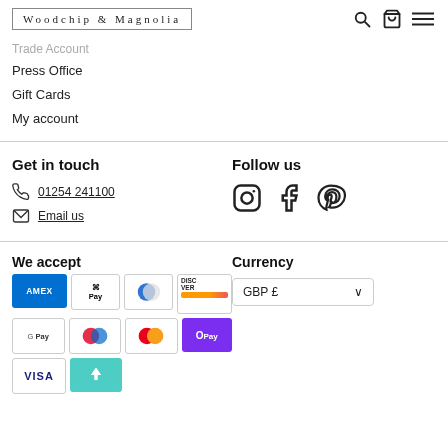Woodchip & Magnolia
Trade Account
Press Office
Gift Cards
My account
Get in touch
01254 241100
Email us
Follow us
[Figure (infographic): Social media icons: Instagram, Facebook, Pinterest]
We accept
[Figure (infographic): Payment method icons: AMEX, Apple Pay, Diners Club, Discover, Google Pay, Maestro, Mastercard, OPay, Visa, Laybuy]
Currency
GBP £